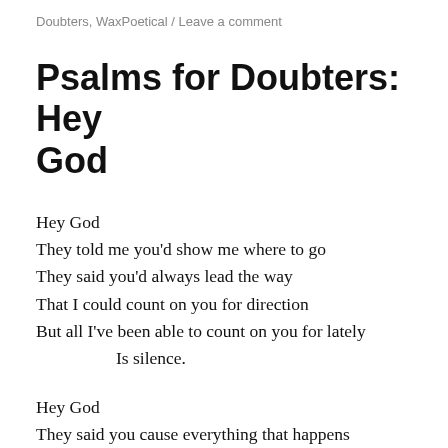Doubters, WaxPoetical / Leave a comment
Psalms for Doubters: Hey God
Hey God
They told me you’d show me where to go
They said you’d always lead the way
That I could count on you for direction
But all I’ve been able to count on you for lately
    Is silence.

Hey God
They said you cause everything that happens
But bad has happened